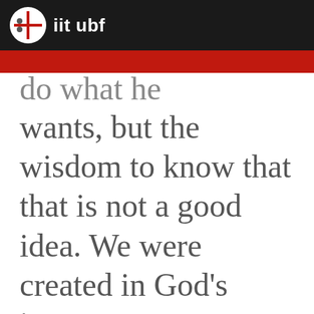iit ubf
do what he wants, but the wisdom to know that that is not a good idea. We were created in God's image, not